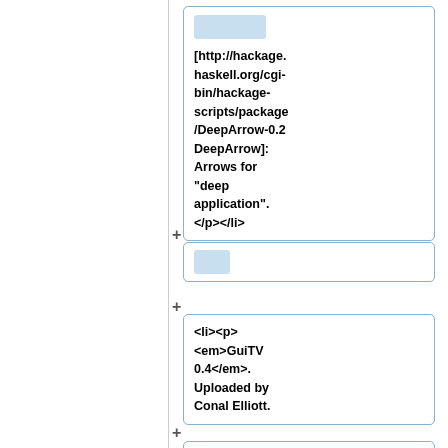[Figure (screenshot): A diff/version-control style view showing expandable card items. Card 1 contains a link [http://hackage.haskell.org/cgi-bin/hackage-scripts/package/DeepArrow-0.2 DeepArrow]: Arrows for 'deep application'. </p></li>. Card 2 is a collapsed small blue block. Card 3 contains <li><p><em>GuiTV 0.4</em>. Uploaded by Conal Elliott. Card 4 is partially visible showing [http://hackage.haskell.org/cgi-]